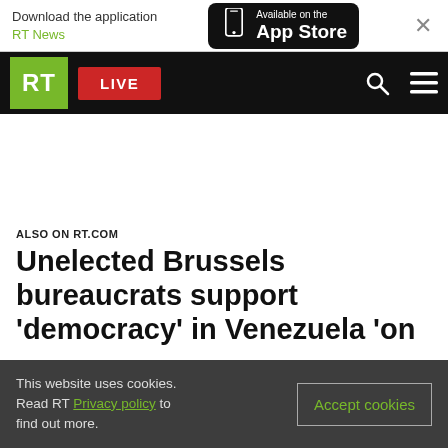Download the application RT News — Available on the App Store
[Figure (screenshot): RT website navigation bar with green RT logo, red LIVE button, search and menu icons on black background]
ALSO ON RT.COM
Unelected Brussels bureaucrats support 'democracy' in Venezuela 'on
This website uses cookies. Read RT Privacy policy to find out more. Accept cookies